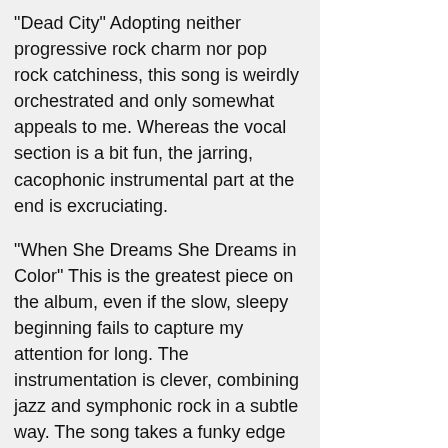"Dead City" Adopting neither progressive rock charm nor pop rock catchiness, this song is weirdly orchestrated and only somewhat appeals to me. Whereas the vocal section is a bit fun, the jarring, cacophonic instrumental part at the end is excruciating.
"When She Dreams She Dreams in Color" This is the greatest piece on the album, even if the slow, sleepy beginning fails to capture my attention for long. The instrumentation is clever, combining jazz and symphonic rock in a subtle way. The song takes a funky edge for a bit before growing louder, becoming a juddering and unpleasant section. A desolate piano takes over then before a single guitar relieves it. This begins the already celebrated coda of this piece. It is full of Mellotron and spirit. The repetitive rhythm accentuates an incredible ending that begins with Mellotron and leads into a wonderful saxophone and some wild violin. It may be Discipline's most moving